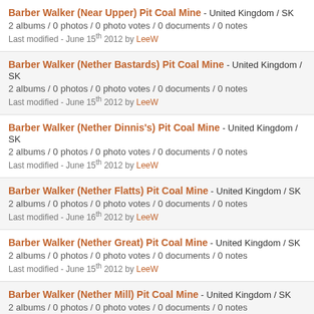Barber Walker (Near Upper) Pit Coal Mine - United Kingdom / SK
2 albums / 0 photos / 0 photo votes / 0 documents / 0 notes
Last modified - June 15th 2012 by LeeW
Barber Walker (Nether Bastards) Pit Coal Mine - United Kingdom / SK
2 albums / 0 photos / 0 photo votes / 0 documents / 0 notes
Last modified - June 15th 2012 by LeeW
Barber Walker (Nether Dinnis's) Pit Coal Mine - United Kingdom / SK
2 albums / 0 photos / 0 photo votes / 0 documents / 0 notes
Last modified - June 15th 2012 by LeeW
Barber Walker (Nether Flatts) Pit Coal Mine - United Kingdom / SK
2 albums / 0 photos / 0 photo votes / 0 documents / 0 notes
Last modified - June 16th 2012 by LeeW
Barber Walker (Nether Great) Pit Coal Mine - United Kingdom / SK
2 albums / 0 photos / 0 photo votes / 0 documents / 0 notes
Last modified - June 15th 2012 by LeeW
Barber Walker (Nether Mill) Pit Coal Mine - United Kingdom / SK
2 albums / 0 photos / 0 photo votes / 0 documents / 0 notes